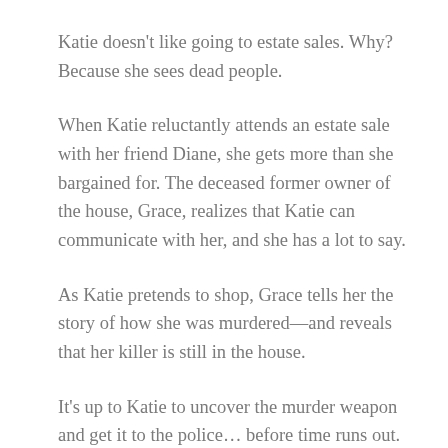Katie doesn't like going to estate sales. Why? Because she sees dead people.
When Katie reluctantly attends an estate sale with her friend Diane, she gets more than she bargained for. The deceased former owner of the house, Grace, realizes that Katie can communicate with her, and she has a lot to say.
As Katie pretends to shop, Grace tells her the story of how she was murdered—and reveals that her killer is still in the house.
It's up to Katie to uncover the murder weapon and get it to the police… before time runs out.